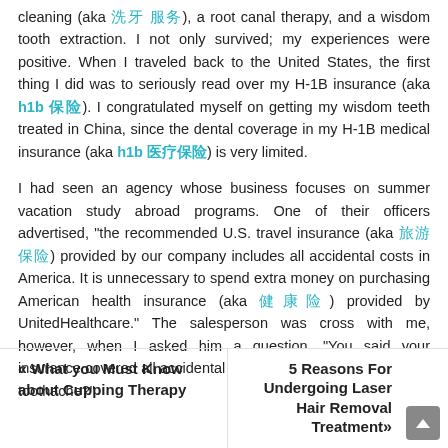cleaning (aka 洗牙 服务), a root canal therapy, and a wisdom tooth extraction. I not only survived; my experiences were positive. When I traveled back to the United States, the first thing I did was to seriously read over my H-1B insurance (aka h1b 保险). I congratulated myself on getting my wisdom teeth treated in China, since the dental coverage in my H-1B medical insurance (aka h1b 医疗保险) is very limited.
I had seen an agency whose business focuses on summer vacation study abroad programs. One of their officers advertised, "the recommended U.S. travel insurance (aka 旅游保险) provided by our company includes all accidental costs in America. It is unnecessary to spend extra money on purchasing American health insurance (aka 健康险) provided by UnitedHealthcare." The salesperson was cross with me, however, when I asked him a question, "You said your insurance covered all accidental costs. Does that include urgent toothache?"
« What you Must Know about Cupping Therapy | 5 Reasons For Undergoing Laser Hair Removal Treatment »